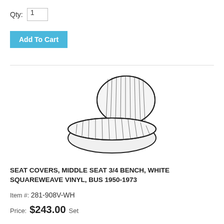Qty: 1
Add To Cart
[Figure (illustration): Line drawing illustration of a bench seat with striped squareweave vinyl upholstery, showing the seat back and seat cushion from a 3/4 angle.]
SEAT COVERS, MIDDLE SEAT 3/4 BENCH, WHITE SQUAREWEAVE VINYL, BUS 1950-1973
Item #: 281-908V-WH
Price: $243.00 Set